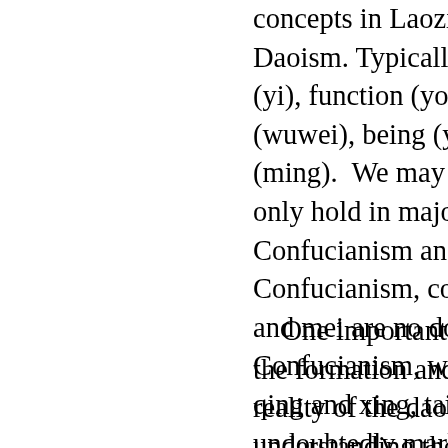concepts in Laozi's tex Daoism. Typically, we c (yi), function (yong), kn (wuwei), being (you), m (ming). We may also se only hold in major conc Confucianism and Neo- Confucianism, concept and mei are no doubt h Confucianism, we have qing and xing, taiji, tai undoubtedly marked by Naturalness (Ziran) an
One important con the formation and deve reality of the dao. xii T understanding the phil